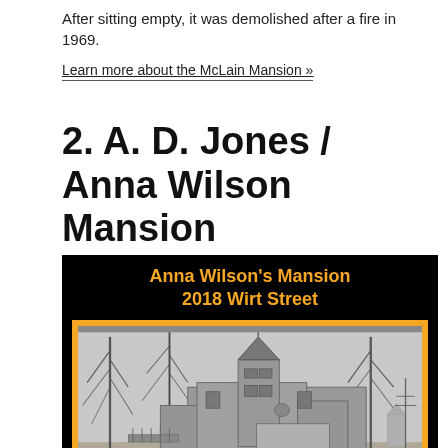After sitting empty, it was demolished after a fire in 1969.
Learn more about the McLain Mansion »
2. A. D. Jones / Anna Wilson Mansion
[Figure (photo): Black and white historical photograph of Anna Wilson's Mansion at 2018 Wirt Street. A large Victorian-style house with a turret, bare trees in winter, surrounded by a black border with orange title text reading 'Anna Wilson's Mansion 2018 Wirt Street'.]